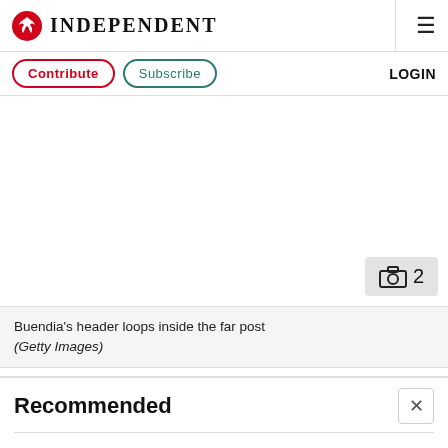INDEPENDENT
Contribute  Subscribe  LOGIN
[Figure (photo): News article image area with photo counter showing 2 photos]
Buendia's header loops inside the far post (Getty Images)
Recommended